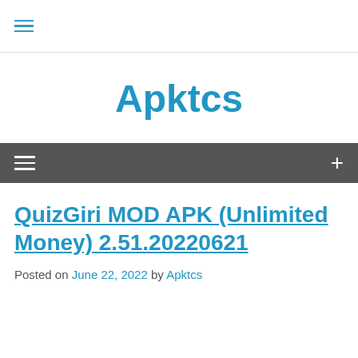≡
Apktcs
[Figure (other): Dark gray navigation bar with hamburger menu icon on the left and plus (+) sign on the right]
QuizGiri MOD APK (Unlimited Money) 2.51.20220621
Posted on June 22, 2022 by Apktcs